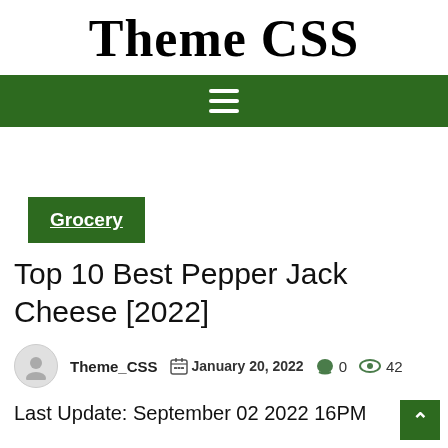Theme CSS
[Figure (other): Green navigation bar with white hamburger menu icon (three horizontal lines)]
Grocery
Top 10 Best Pepper Jack Cheese [2022]
Theme_CSS  January 20, 2022  0  42
Last Update: September 02 2022 16PM